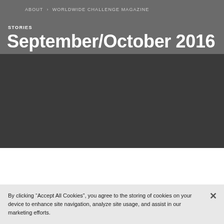ABOUT › WORLDWIDE CHALLENGE MAGAZINE
STORIES
September/October 2016
[Figure (photo): Dark rectangular image block, appears to be a magazine cover or promotional image with a very dark/black background]
By clicking "Accept All Cookies", you agree to the storing of cookies on your device to enhance site navigation, analyze site usage, and assist in our marketing efforts.